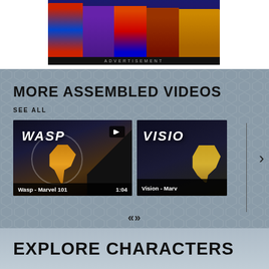[Figure (illustration): Advertisement banner showing Marvel superhero characters including Captain America, a purple-costumed character, a red-costumed character, another hero, and a character with an animal. Black bar at bottom reads ADVERTISEMENT.]
ADVERTISEMENT
MORE ASSEMBLED VIDEOS
SEE ALL
[Figure (screenshot): Video thumbnail for 'Wasp - Marvel 101' showing the Wasp character in yellow armor against a dark background with WASP text and a play button. Duration shown as 1:04.]
[Figure (screenshot): Partial video thumbnail for 'Vision - Marvel...' showing 'VISIO' text and a golden figure on dark background.]
EXPLORE CHARACTERS